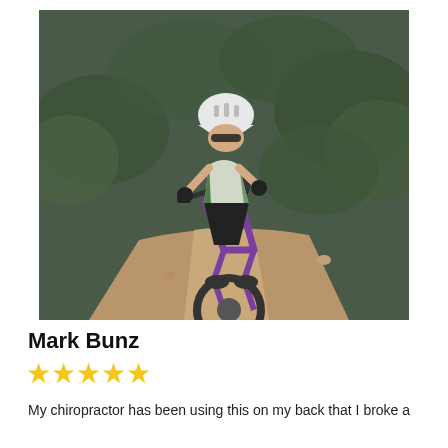[Figure (photo): A cyclist wearing a white helmet and green/white cycling jersey riding a purple mountain bike on a dirt trail surrounded by desert shrubs.]
Mark Bunz
[Figure (other): Five gold star rating icons]
My chiropractor has been using this on my back that I broke a